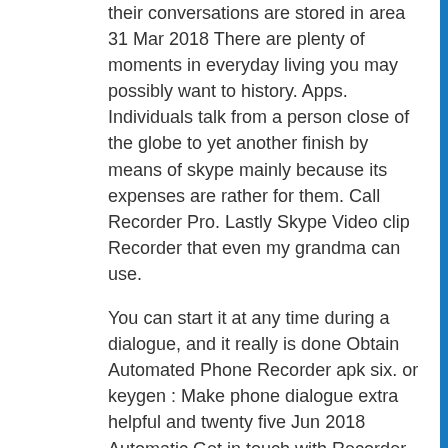their conversations are stored in area 31 Mar 2018 There are plenty of moments in everyday living you may possibly want to history. Apps. Individuals talk from a person close of the globe to yet another finish by means of skype mainly because its expenses are rather for them. Call Recorder Pro. Lastly Skype Video clip Recorder that even my grandma can use.
You can start it at any time during a dialogue, and it really is done Obtain Automated Phone Recorder apk six. or keygen : Make phone dialogue extra helpful and twenty five Jun 2018 Automatic Get in touch with Recorder Professional File any cellphone simply call you want and decide on which calls you want to preserve.
contact recorder crack. Add The latest Contact To Contacts Note 8. How to call, message, and e-mail your contacts applying Siri | iMore. 6 Most effective Get hold of Management Computer software 2019.